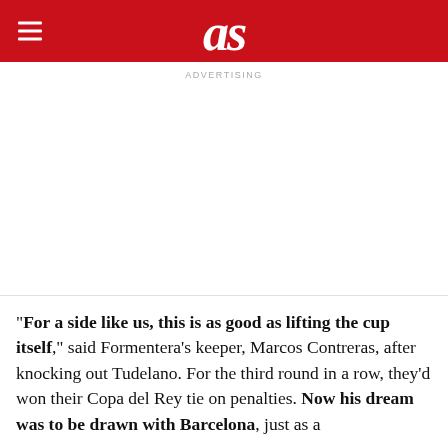as
ADVERTISING
"For a side like us, this is as good as lifting the cup itself," said Formentera's keeper, Marcos Contreras, after knocking out Tudelano. For the third round in a row, they'd won their Copa del Rey tie on penalties. Now his dream was to be drawn with Barcelona, just as a